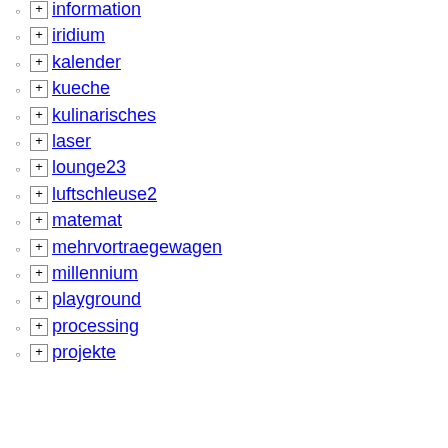information
iridium
kalender
kueche
kulinarisches
laser
lounge23
luftschleuse2
matemat
mehrvortraegewagen
millennium
playground
processing
projekte